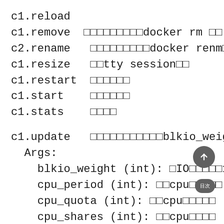c1.reload
c1.remove  □□□□□□□□□docker rm □□
c2.rename   □□□□□□□□□docker renma
c1.resize   □□tty session□□
c1.restart  □□□□□□
c1.start    □□□□□□
c1.stats    □□□□
c1.update   □□□□□□□□□□□blkio_weight
Args:
    blkio_weight (int): □IO□□□□□16
    cpu_period (int): □□cpu□□□□□□
    cpu_quota (int): □□cpu□□□□□□
    cpu_shares (int): □□cpu□□□□